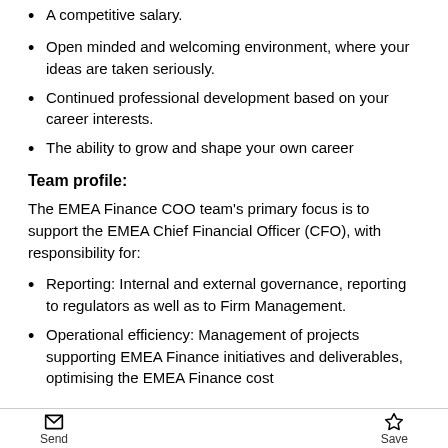A competitive salary.
Open minded and welcoming environment, where your ideas are taken seriously.
Continued professional development based on your career interests.
The ability to grow and shape your own career
Team profile:
The EMEA Finance COO team's primary focus is to support the EMEA Chief Financial Officer (CFO), with responsibility for:
Reporting: Internal and external governance, reporting to regulators as well as to Firm Management.
Operational efficiency: Management of projects supporting EMEA Finance initiatives and deliverables, optimising the EMEA Finance cost
Send   Save